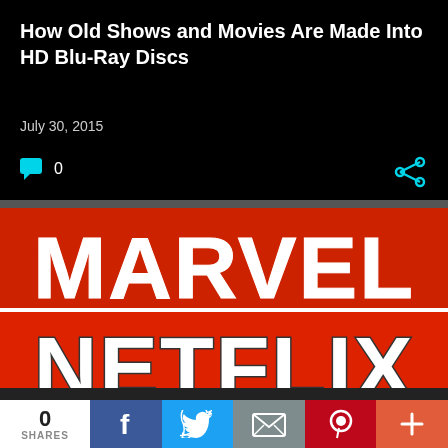How Old Shows and Movies Are Made Into HD Blu-Ray Discs
July 30, 2015
0
[Figure (photo): Marvel Netflix logo image - red background with large white MARVEL text on top half and partial NETFLIX text visible on bottom half, separated by a white horizontal line]
0 SHARES
f
Twitter share icon
Email share icon
Pinterest icon
+